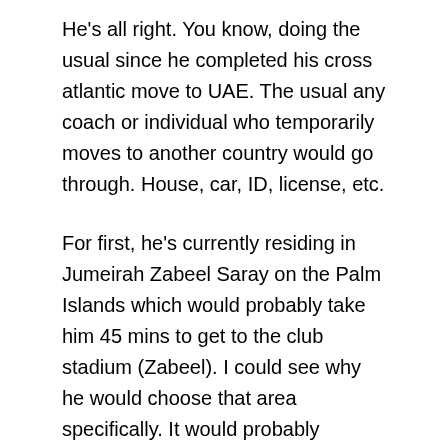He's all right. You know, doing the usual since he completed his cross atlantic move to UAE. The usual any coach or individual who temporarily moves to another country would go through. House, car, ID, license, etc.
For first, he's currently residing in Jumeirah Zabeel Saray on the Palm Islands which would probably take him 45 mins to get to the club stadium (Zabeel). I could see why he would choose that area specifically. It would probably remind him of Cuba.
He recently picked up his license as well. Not sure if he did go through the road tests that are mandatory here considering his driving relationships with buses. The government must issue a notice for buses to keep a distance of 5 KM while he is